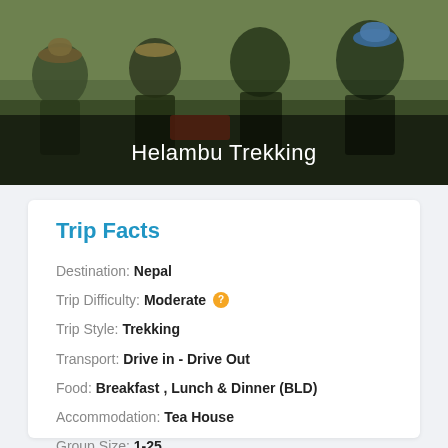[Figure (photo): Group of trekkers with hiking gear and hats outdoors in green landscape]
Helambu Trekking
Trip Facts
Destination: Nepal
Trip Difficulty: Moderate
Trip Style: Trekking
Transport: Drive in - Drive Out
Food: Breakfast , Lunch & Dinner (BLD)
Accommodation: Tea House
Group Size: 1-25